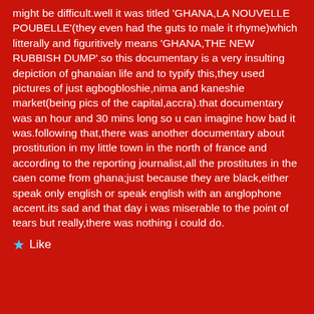might be difficult.well it was titled 'GHANA,LA NOUVELLE POUBELLE'(they even had the guts to male it rhyme)which litterally and figuritively means 'GHANA,THE NEW RUBBISH DUMP'.so this documentary is a very insulting depiction of ghanaian life and to typify this,they used pictures of just agbogbloshie,nima and kaneshie market(being pics of the capital,accra).that documentary was an hour and 30 mins long so u can imagine how bad it was.following that,there was another documentary about prostitution in my little town in the north of france and according to the reporting journalist,all the prostitutes in the caen come from ghana;just because they are black,either speak only english or speak english with an anglophone accent.its sad and that day i was miserable to the point of tears but really,there was nothing i could do.
Like